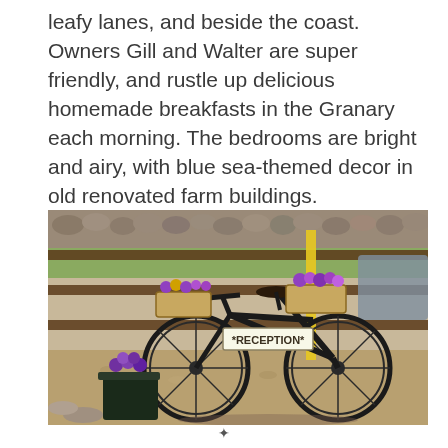leafy lanes, and beside the coast. Owners Gill and Walter are super friendly, and rustle up delicious homemade breakfasts in the Granary each morning. The bedrooms are bright and airy, with blue sea-themed decor in old renovated farm buildings.
[Figure (photo): A vintage black bicycle with flower-filled baskets and a 'RECEPTION' sign leaning against a wooden fence with a stone wall background, surrounded by gravel ground and potted purple flowers.]
✦